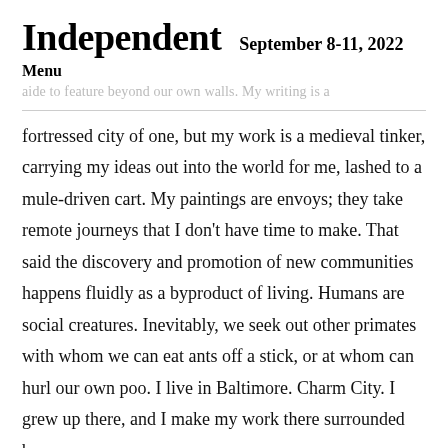Independent  September 8-11, 2022
Menu
fortressed city of one, but my work is a medieval tinker, carrying my ideas out into the world for me, lashed to a mule-driven cart. My paintings are envoys; they take remote journeys that I don't have time to make. That said the discovery and promotion of new communities happens fluidly as a byproduct of living. Humans are social creatures. Inevitably, we seek out other primates with whom we can eat ants off a stick, or at whom can hurl our own poo. I live in Baltimore. Charm City. I grew up there, and I make my work there surrounded by so many